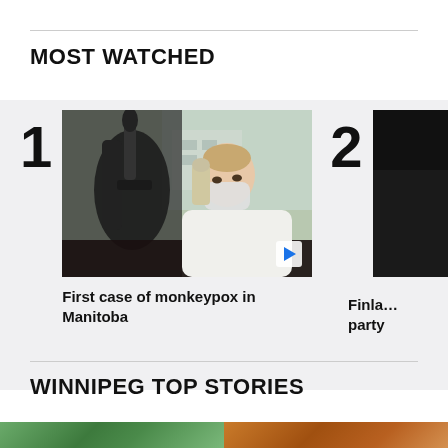MOST WATCHED
[Figure (photo): Person looking through a microscope while wearing a face mask, lab setting with window in background. Ranked #1 in Most Watched section.]
First case of monkeypox in Manitoba
[Figure (photo): Partially visible thumbnail for story ranked #2, dark image cropped at right edge.]
Finla… party
WINNIPEG TOP STORIES
[Figure (photo): Partial bottom strip showing two thumbnail images for Winnipeg Top Stories section.]